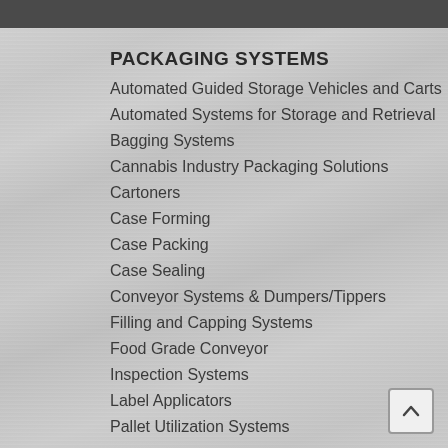PACKAGING SYSTEMS
Automated Guided Storage Vehicles and Carts
Automated Systems for Storage and Retrieval
Bagging Systems
Cannabis Industry Packaging Solutions
Cartoners
Case Forming
Case Packing
Case Sealing
Conveyor Systems & Dumpers/Tippers
Filling and Capping Systems
Food Grade Conveyor
Inspection Systems
Label Applicators
Pallet Utilization Systems